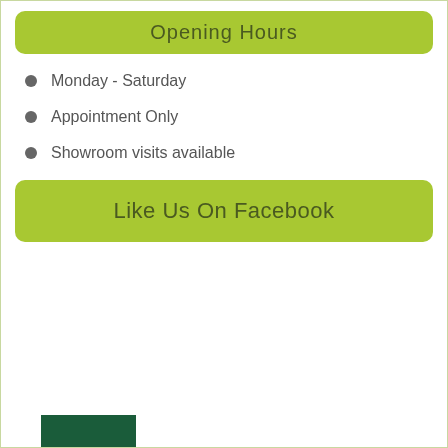Opening Hours
Monday - Saturday
Appointment Only
Showroom visits available
Like Us On Facebook